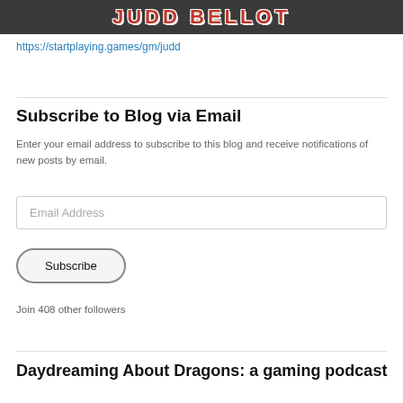[Figure (photo): Partial photo of a person with text overlay showing a name in red bold letters on dark background]
https://startplaying.games/gm/judd
Subscribe to Blog via Email
Enter your email address to subscribe to this blog and receive notifications of new posts by email.
Email Address
Subscribe
Join 408 other followers
Daydreaming About Dragons: a gaming podcast